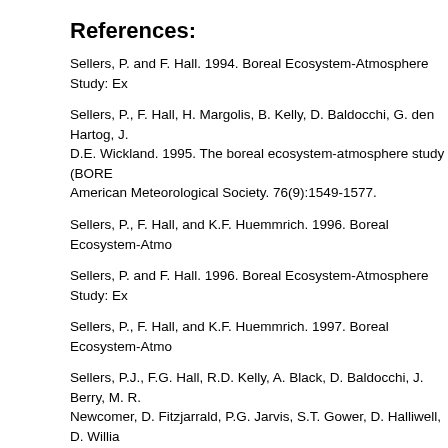References:
Sellers, P. and F. Hall. 1994. Boreal Ecosystem-Atmosphere Study: Ex…
Sellers, P., F. Hall, H. Margolis, B. Kelly, D. Baldocchi, G. den Hartog, J… D.E. Wickland. 1995. The boreal ecosystem-atmosphere study (BORE… American Meteorological Society. 76(9):1549-1577.
Sellers, P., F. Hall, and K.F. Huemmrich. 1996. Boreal Ecosystem-Atmo…
Sellers, P. and F. Hall. 1996. Boreal Ecosystem-Atmosphere Study: Ex…
Sellers, P., F. Hall, and K.F. Huemmrich. 1997. Boreal Ecosystem-Atmo…
Sellers, P.J., F.G. Hall, R.D. Kelly, A. Black, D. Baldocchi, J. Berry, M. R… Newcomer, D. Fitzjarrald, P.G. Jarvis, S.T. Gower, D. Halliwell, D. Willia… Experiment Overview, Scientific Results and Future Directions. Journa…
Steyaert, L.T., F.G. Hall, and T.R. Loveland. 1997. Land Cover Mapping… Studies in the BOREAS Forest Ecosystem with Multiresolution 1-km AV…
Document Information:
07-Oct-1999 (data set citation revised on 12-Sep-2002)
Document Review Date:
07-Oct-1999